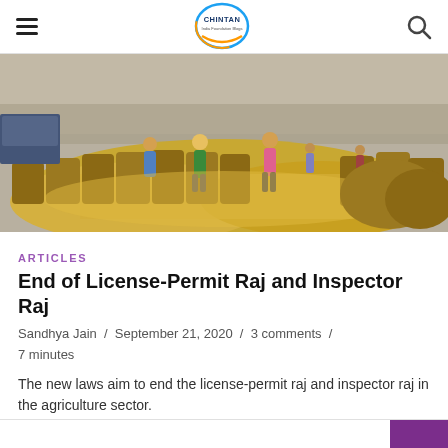CHINTAN India Foundation Blogs — navigation header with hamburger menu and search icon
[Figure (photo): Workers shoveling and bagging grain (wheat/rice) at an agricultural procurement site, with large burlap sacks piled up and crowds of workers in the background.]
ARTICLES
End of License-Permit Raj and Inspector Raj
Sandhya Jain / September 21, 2020 / 3 comments / 7 minutes
The new laws aim to end the license-permit raj and inspector raj in the agriculture sector.
[Figure (infographic): Social sharing icons: Facebook (blue circle with f), Twitter (light blue circle with bird), WhatsApp (green circle with phone handset)]